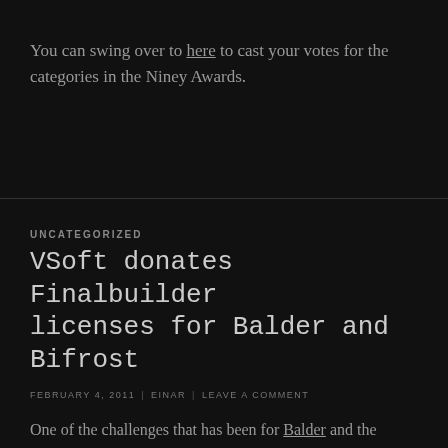You can swing over to here to cast your votes for the categories in the Niney Awards.
UNCATEGORIZED
VSoft donates Finalbuilder licenses for Balder and Bifrost
FEBRUARY 4, 2011 | EINAR | LEAVE A COMMENT
One of the challenges that has been for Balder and the Bifrost project has been to get a proper build environment up and running. This is something that now